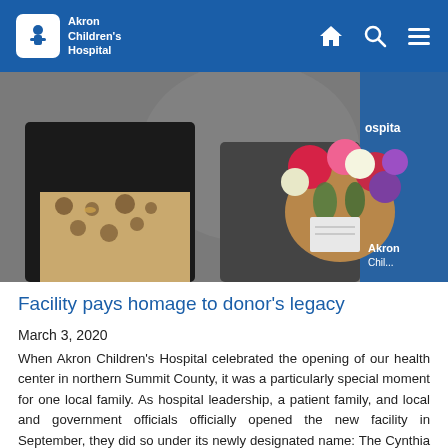Akron Children's Hospital
[Figure (photo): Two people standing, one holding a colorful bouquet of flowers including red, pink, white, and purple blooms. In the background is a hospital backdrop reading 'Akron Children's Hospital'.]
Facility pays homage to donor's legacy
March 3, 2020
When Akron Children's Hospital celebrated the opening of our health center in northern Summit County, it was a particularly special moment for one local family. As hospital leadership, a patient family, and local and government officials officially opened the new facility in September, they did so under its newly designated name: The Cynthia Parker Matthews [...]